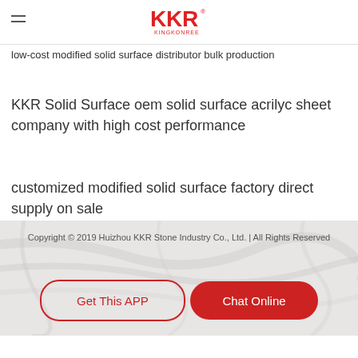KKR KINGKONREE
low-cost modified solid surface distributor bulk production
KKR Solid Surface oem solid surface acrilyc sheet company with high cost performance
customized modified solid surface factory direct supply on sale
Copyright © 2019 Huizhou KKR Stone Industry Co., Ltd. | All Rights Reserved
Get This APP
Chat Online